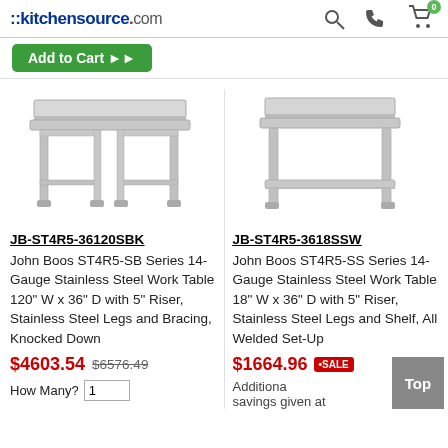::kitchensource.com
[Figure (screenshot): Add to Cart button (green)]
[Figure (photo): Stainless steel work table with backsplash, no shelf, on legs with cross bracing (JB-ST4R5-36120SBK)]
JB-ST4R5-36120SBK
John Boos ST4R5-SB Series 14-Gauge Stainless Steel Work Table 120" W x 36" D with 5" Riser, Stainless Steel Legs and Bracing, Knocked Down
$4603.54 $6576.49
How Many? 1
[Figure (photo): Stainless steel work table with backsplash and lower shelf (JB-ST4R5-3618SSW)]
JB-ST4R5-3618SSW
John Boos ST4R5-SS Series 14-Gauge Stainless Steel Work Table 18" W x 36" D with 5" Riser, Stainless Steel Legs and Shelf, All Welded Set-Up
$1664.96 SALE Additional savings given at